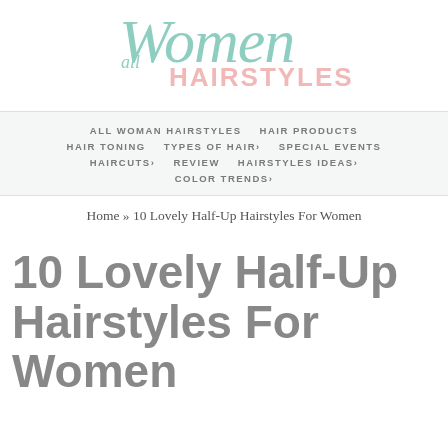[Figure (logo): All Women Hairstyles logo with cursive green 'Women' text and pink 'HAIRSTYLES' text]
ALL WOMAN HAIRSTYLES   HAIR PRODUCTS   HAIR TONING   TYPES OF HAIR›   SPECIAL EVENTS   HAIRCUTS›   REVIEW   HAIRSTYLES IDEAS›   COLOR TRENDS›
Home » 10 Lovely Half-Up Hairstyles For Women
10 Lovely Half-Up Hairstyles For Women